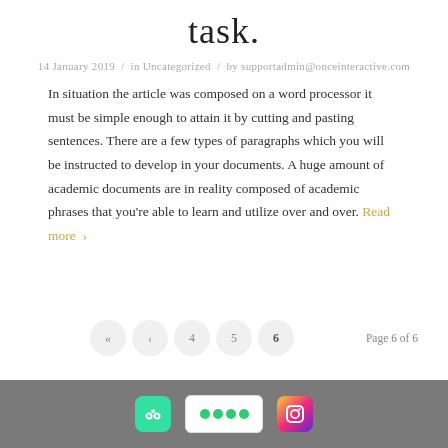task.
14 January 2019  /  in Uncategorized  /  by supportadmin@onceinteractive.com
In situation the article was composed on a word processor it must be simple enough to attain it by cutting and pasting sentences. There are a few types of paragraphs which you will be instructed to develop in your documents. A huge amount of academic documents are in reality composed of academic phrases that you're able to learn and utilize over and over. Read more ›
Page 6 of 6